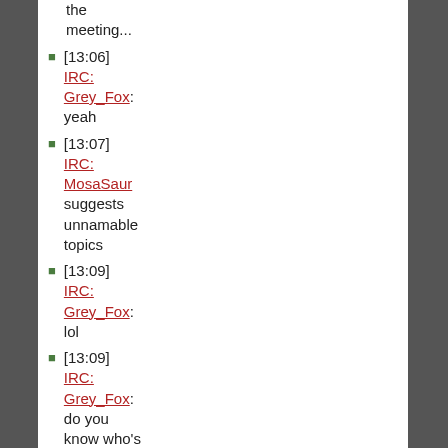the meeting...
[13:06] IRC: Grey_Fox: yeah
[13:07] IRC: MosaSaur suggests unnamable topics
[13:09] IRC: Grey_Fox: lol
[13:09] IRC: Grey_Fox: do you know who's coming to the